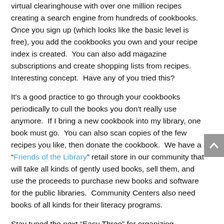virtual clearinghouse with over one million recipes creating a search engine from hundreds of cookbooks. Once you sign up (which looks like the basic level is free), you add the cookbooks you own and your recipe index is created. You can also add magazine subscriptions and create shopping lists from recipes. Interesting concept. Have any of you tried this?
It's a good practice to go through your cookbooks periodically to cull the books you don't really use anymore. If I bring a new cookbook into my library, one book must go. You can also scan copies of the few recipes you like, then donate the cookbook. We have a "Friends of the Library" retail store in our community that will take all kinds of gently used books, sell them, and use the proceeds to purchase new books and software for the public libraries. Community Centers also need books of all kinds for their literacy programs.
Stay tuned the next “Easy Three” for organizing.